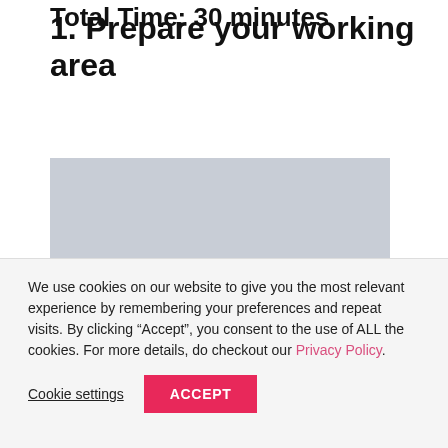Total Time: 30 minutes
1. Prepare your working area
[Figure (photo): A light gray placeholder image block representing a photo of a working area.]
We use cookies on our website to give you the most relevant experience by remembering your preferences and repeat visits. By clicking “Accept”, you consent to the use of ALL the cookies. For more details, do checkout our Privacy Policy.
Cookie settings    ACCEPT